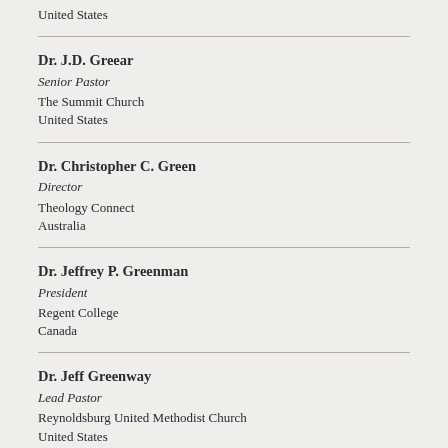United States
Dr. J.D. Greear
Senior Pastor
The Summit Church
United States
Dr. Christopher C. Green
Director
Theology Connect
Australia
Dr. Jeffrey P. Greenman
President
Regent College
Canada
Dr. Jeff Greenway
Lead Pastor
Reynoldsburg United Methodist Church
United States